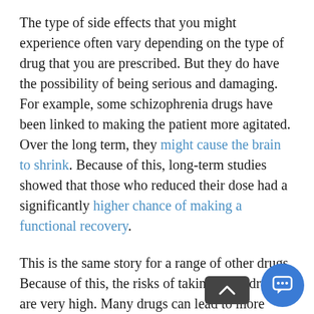The type of side effects that you might experience often vary depending on the type of drug that you are prescribed. But they do have the possibility of being serious and damaging. For example, some schizophrenia drugs have been linked to making the patient more agitated. Over the long term, they might cause the brain to shrink. Because of this, long-term studies showed that those who reduced their dose had a significantly higher chance of making a functional recovery.
This is the same story for a range of other drugs. Because of this, the risks of taking these drugs are very high. Many drugs can lead to more serious mental health problems in the future. For example, there is often a link between these drugs and conditions like mania. There is also a chance that they will increase your risk of committing suicide. There is also some evidence that it can have